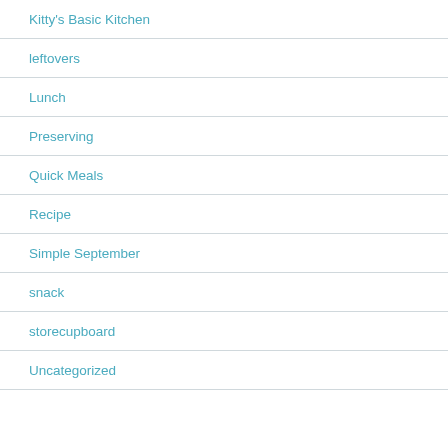Kitty's Basic Kitchen
leftovers
Lunch
Preserving
Quick Meals
Recipe
Simple September
snack
storecupboard
Uncategorized